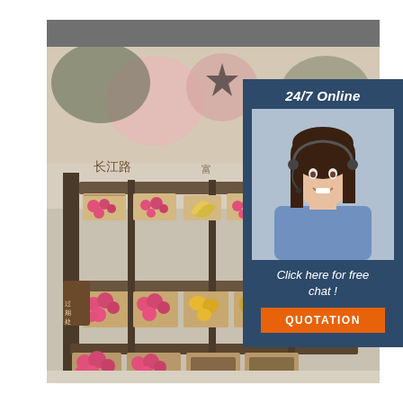[Figure (photo): Interior of a Chinese fruit market/supermarket showing wooden display crates on multi-tier shelving filled with dragon fruit and other produce. A decorative mural with pomegranates and Chinese text (长江路) is visible on the back wall.]
24/7 Online
[Figure (photo): Photo of a smiling woman with dark hair wearing a headset/phone headpiece and a light blue shirt, representing a customer service agent.]
Click here for free chat !
QUOTATION